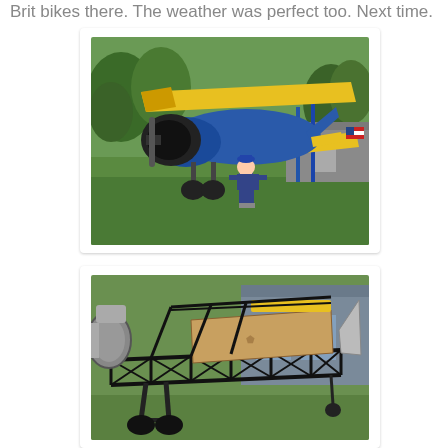Brit bikes there. The weather was perfect too. Next time.
[Figure (photo): Yellow and blue biplane on a grass field with a young child standing in front of it. Trees and a building visible in background.]
[Figure (photo): Close-up view of an aircraft fuselage frame/skeleton structure showing the metal tube framework, landing gear, and wooden wing components, parked on grass near a house.]